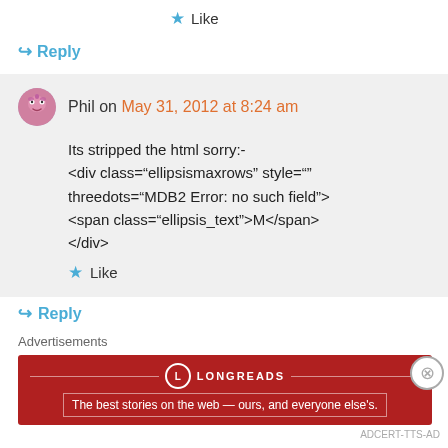★ Like
↪ Reply
[Figure (illustration): Pink monster avatar for user Phil]
Phil on May 31, 2012 at 8:24 am
Its stripped the html sorry:-
<div class="ellipsismaxrows" style=""
threedots="MDB2 Error: no such field">
<span class="ellipsis_text">M</span>
</div>
★ Like
↪ Reply
Advertisements
[Figure (infographic): Longreads advertisement banner: The best stories on the web — ours, and everyone else's.]